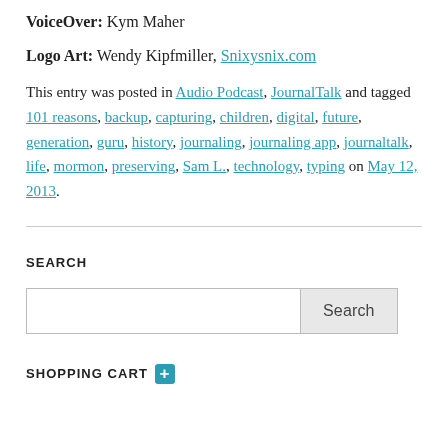VoiceOver: Kym Maher
Logo Art: Wendy Kipfmiller, Snixysnix.com
This entry was posted in Audio Podcast, JournalTalk and tagged 101 reasons, backup, capturing, children, digital, future, generation, guru, history, journaling, journaling app, journaltalk, life, mormon, preserving, Sam L., technology, typing on May 12, 2013.
SEARCH
SHOPPING CART